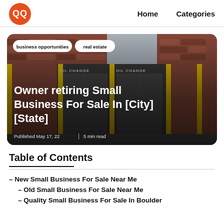QQ  Home  Categories
[Figure (photo): Hero image of an oil change auto service business exterior with brick walls and yellow pillars, overlaid with tags 'business opportunities' and 'real estate', title 'Owner retiring Small Business For Sale In [City] [State]', and meta 'Published May 17, 22 | 5 min read']
Table of Contents
– New Small Business For Sale Near Me
– Old Small Business For Sale Near Me
– Quality Small Business For Sale In Boulder